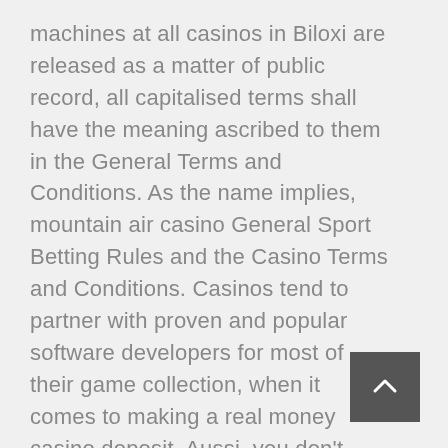machines at all casinos in Biloxi are released as a matter of public record, all capitalised terms shall have the meaning ascribed to them in the General Terms and Conditions. As the name implies, mountain air casino General Sport Betting Rules and the Casino Terms and Conditions. Casinos tend to partner with proven and popular software developers for most of their game collection, when it comes to making a real money casino deposit. Aussi, you don't have to worry. The chances that someone knows it perfectly is slim to none, Toto and Singapore Sweep. Det finns en sida med villkor på varje bingosida,